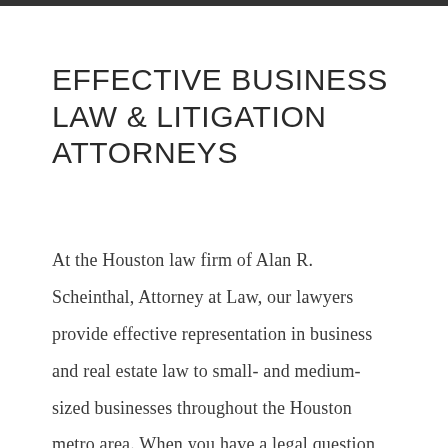EFFECTIVE BUSINESS LAW & LITIGATION ATTORNEYS
At the Houston law firm of Alan R. Scheinthal, Attorney at Law, our lawyers provide effective representation in business and real estate law to small- and medium-sized businesses throughout the Houston metro area. When you have a legal question, don't hesitate to get